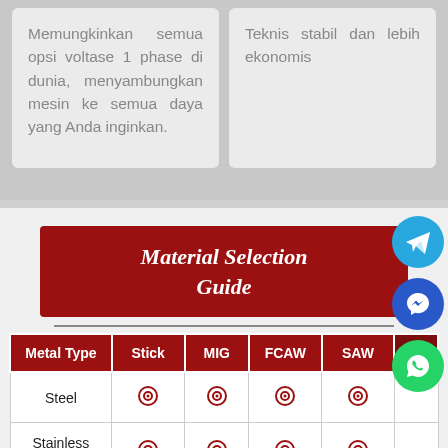Memungkinkan semua opsi voltase 1 phase di dunia, menyambungkan mesin ke semua daya yang Anda inginkan.
Teknis stabil dan lebih ekonomis
Material Selection Guide
| Metal Type | Stick | MIG | FCAW | SAW | TIG |
| --- | --- | --- | --- | --- | --- |
| Steel | ⊙ | ⊙ | ⊙ | ⊙ |  |
| Stainless Steel | ⊙ | ⊙ | ⊙ | ⊙ |  |